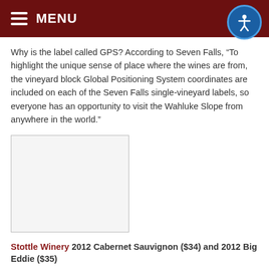MENU
Why is the label called GPS? According to Seven Falls, “To highlight the unique sense of place where the wines are from, the vineyard block Global Positioning System coordinates are included on each of the Seven Falls single-vineyard labels, so everyone has an opportunity to visit the Wahluke Slope from anywhere in the world.”
[Figure (photo): Blank/placeholder image rectangle]
Stottle Winery 2012 Cabernet Sauvignon ($34) and 2012 Big Eddie ($35)
Stottle Winery is based in Lacey, just north of